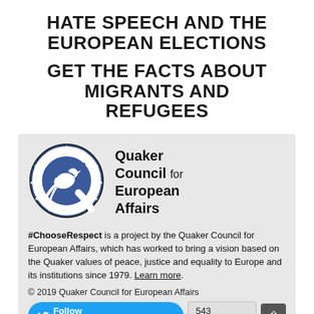HATE SPEECH AND THE EUROPEAN ELECTIONS
GET THE FACTS ABOUT MIGRANTS AND REFUGEES
[Figure (logo): Quaker Council for European Affairs logo — circular blue emblem with dove and stars, beside text 'Quaker Council for European Affairs']
#ChooseRespect is a project by the Quaker Council for European Affairs, which has worked to bring a vision based on the Quaker values of peace, justice and equality to Europe and its institutions since 1979. Learn more.
© 2019 Quaker Council for European Affairs
Follow @ChooseRespectEU   543 followers